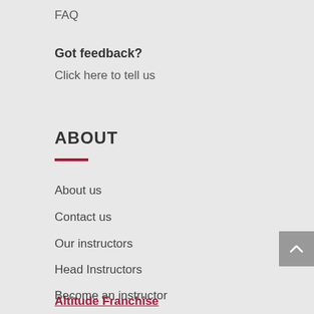FAQ
Got feedback?
Click here to tell us
ABOUT
About us
Contact us
Our instructors
Head Instructors
Become an instructor
Our Code of Conduct
Altitude Franchise